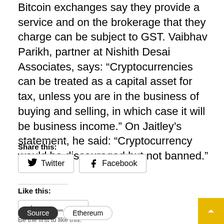Bitcoin exchanges say they provide a service and on the brokerage that they charge can be subject to GST. Vaibhav Parikh, partner at Nishith Desai Associates, says: “Cryptocurrencies can be treated as a capital asset for tax, unless you are in the business of buying and selling, in which case it will be business income.” On Jaitley’s statement, he said: “Cryptocurrency would be discouraged but not banned.”
Share this:
[Figure (other): Twitter and Facebook share buttons]
Like this:
[Figure (other): Like button with star icon and placeholder dots]
Be the first to like this.
Source   Ethereum